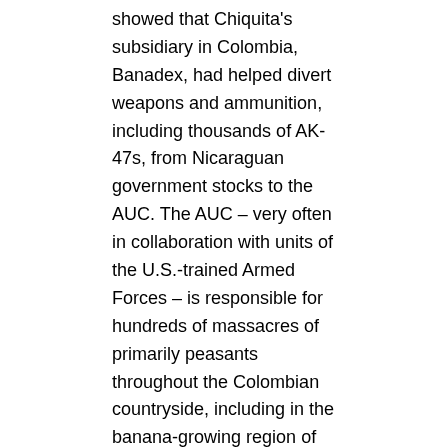showed that Chiquita's subsidiary in Colombia, Banadex, had helped divert weapons and ammunition, including thousands of AK-47s, from Nicaraguan government stocks to the AUC. The AUC – very often in collaboration with units of the U.S.-trained Armed Forces – is responsible for hundreds of massacres of primarily peasants throughout the Colombian countryside, including in the banana-growing region of Urabá, where it is believed that at least 4,000 people were killed. Their systematic use of violence resulted in the forced displacement of hundreds of thousands of poor Colombians, a disproportionate amount of those people being black or indigenous.
In 2004, Holder helped negotiate an agreement with the Justice Department for Chiquita that involved the